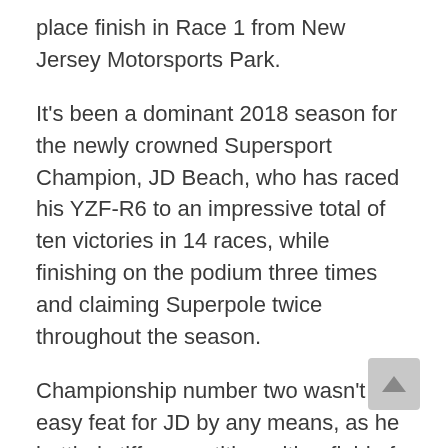place finish in Race 1 from New Jersey Motorsports Park.
It’s been a dominant 2018 season for the newly crowned Supersport Champion, JD Beach, who has raced his YZF-R6 to an impressive total of ten victories in 14 races, while finishing on the podium three times and claiming Superpole twice throughout the season.
Championship number two wasn’t an easy feat for JD by any means, as he battled stiff competition with a field of talented Supersport racers all season long. The Kentucky native held strong, week in and week out, to fight his way to a second-career Supersport title and he will continue to vie for race-wins in the final three races.
In Race 1, JD got off to a great start aboard his Monster